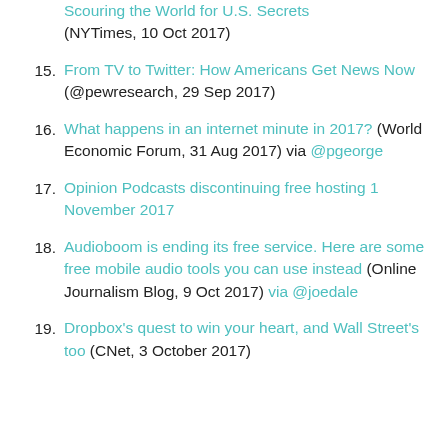Scouring the World for U.S. Secrets (NYTimes, 10 Oct 2017)
15. From TV to Twitter: How Americans Get News Now (@pewresearch, 29 Sep 2017)
16. What happens in an internet minute in 2017? (World Economic Forum, 31 Aug 2017) via @pgeorge
17. Opinion Podcasts discontinuing free hosting 1 November 2017
18. Audioboom is ending its free service. Here are some free mobile audio tools you can use instead (Online Journalism Blog, 9 Oct 2017) via @joedale
19. Dropbox's quest to win your heart, and Wall Street's too (CNet, 3 October 2017)